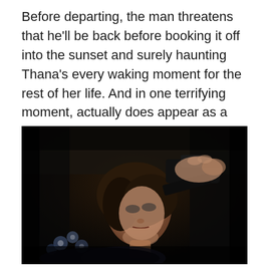Before departing, the man threatens that he'll be back before booking it off into the sunset and surely haunting Thana's every waking moment for the rest of her life. And in one terrifying moment, actually does appear as a nightmarish phantom hallucination to Thana as she tries to undress and take a shower after the attack.
[Figure (photo): A dark film still showing a woman with dark hair looking upward in fear while a hand holds a gun to her head. The scene is dramatically lit with dark shadows. The woman appears to be wearing a floral garment visible in the lower left corner.]